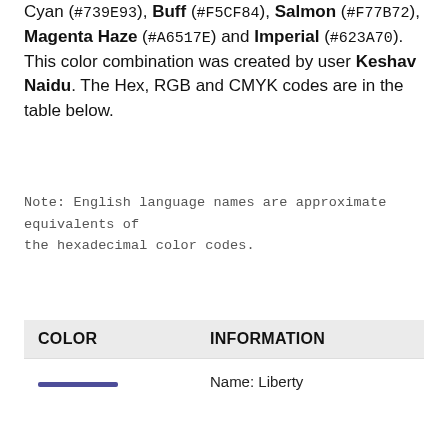Cyan (#739E93), Buff (#F5CF84), Salmon (#F77B72), Magenta Haze (#A6517E) and Imperial (#623A70). This color combination was created by user Keshav Naidu. The Hex, RGB and CMYK codes are in the table below.
Note: English language names are approximate equivalents of the hexadecimal color codes.
| COLOR | INFORMATION |
| --- | --- |
| [color swatch] | Name: Liberty |